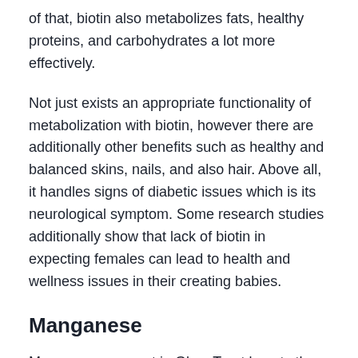of that, biotin also metabolizes fats, healthy proteins, and carbohydrates a lot more effectively.
Not just exists an appropriate functionality of metabolization with biotin, however there are additionally other benefits such as healthy and balanced skins, nails, and also hair. Above all, it handles signs of diabetic issues which is its neurological symptom. Some research studies additionally show that lack of biotin in expecting females can lead to health and wellness issues in their creating babies.
Manganese
Manganese present in GlucoTrust boosts the